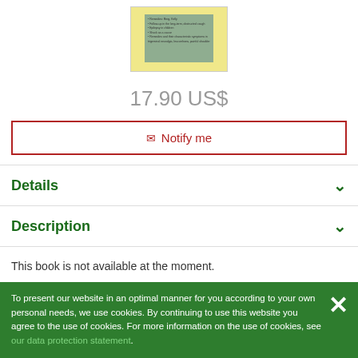[Figure (illustration): Book cover thumbnail showing a yellow background with a green inner panel containing small text bullet points about medical topics]
17.90 US$
✉ Notify me
Details
Description
This book is not available at the moment.
Below you find other books of this author and books about similar subjects.
To present our website in an optimal manner for you according to your own personal needs, we use cookies. By continuing to use this website you agree to the use of cookies. For more information on the use of cookies, see our data protection statement.